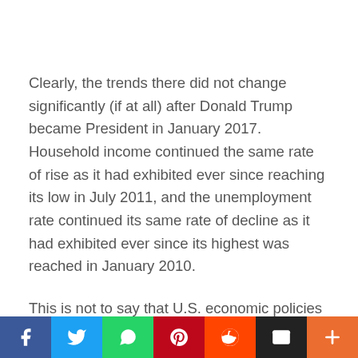Clearly, the trends there did not change significantly (if at all) after Donald Trump became President in January 2017. Household income continued the same rate of rise as it had exhibited ever since reaching its low in July 2011, and the unemployment rate continued its same rate of decline as it had exhibited ever since its highest was reached in January 2010.
This is not to say that U.S. economic policies did not change when Trump came into office, but only to say